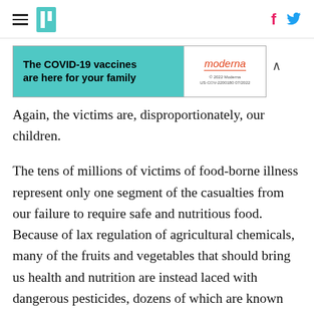HuffPost navigation with hamburger menu, logo, Facebook and Twitter icons
[Figure (other): Advertisement banner: 'The COVID-19 vaccines are here for your family' with Moderna logo and fine print '© 2022 Moderna US-COV-2200180 07/2022']
Again, the victims are, disproportionately, our children.
The tens of millions of victims of food-borne illness represent only one segment of the casualties from our failure to require safe and nutritious food. Because of lax regulation of agricultural chemicals, many of the fruits and vegetables that should bring us health and nutrition are instead laced with dangerous pesticides, dozens of which are known carcinogens. Much of the food marketed to our children and served in their schools are confections brimming with trans-fats and high-fructose corn syrup; these contribute mightily to